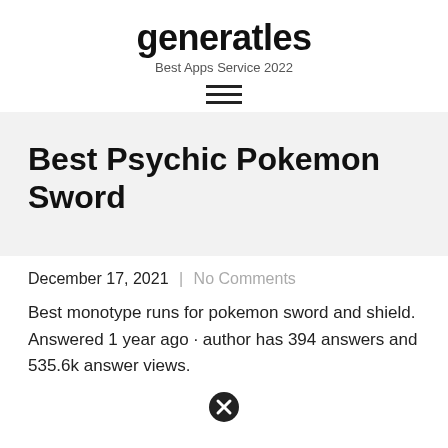generatles
Best Apps Service 2022
Best Psychic Pokemon Sword
December 17, 2021  |  No Comments
Best monotype runs for pokemon sword and shield. Answered 1 year ago · author has 394 answers and 535.6k answer views.